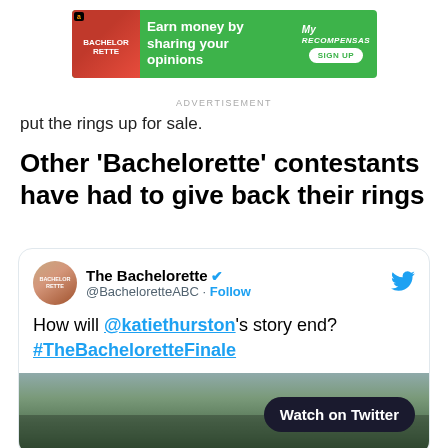[Figure (other): Advertisement banner with green background: 'Earn money by sharing your opinions' with MyRecompensas logo and SIGN UP button]
ADVERTISEMENT
put the rings up for sale.
Other 'Bachelorette' contestants have had to give back their rings
[Figure (screenshot): Embedded tweet from The Bachelorette @BacheloretteABC with text: 'How will @katiethurston's story end? #TheBacheloretteFinale' with a Watch on Twitter button over a landscape image preview]